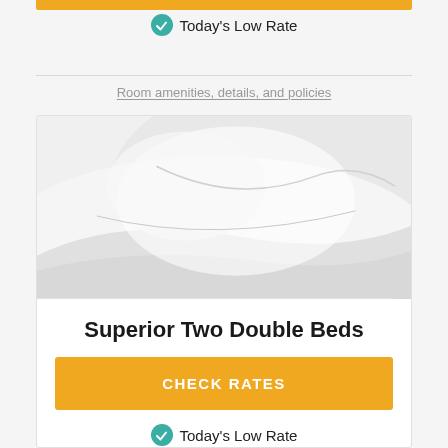[Figure (other): Orange/amber horizontal button or banner bar at the top of the page]
Today's Low Rate
Room amenities, details, and policies
[Figure (photo): Close-up photo of white hotel pillows and bedding, soft light tones]
Superior Two Double Beds
CHECK RATES
Today's Low Rate